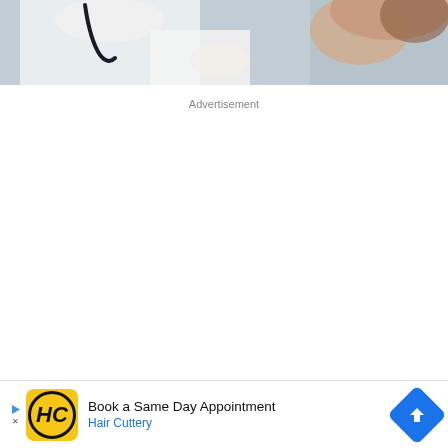[Figure (photo): Partial view of a medical scene — doctor in white coat with stethoscope examining or near a patient, cropped at the top of the page]
Advertisement
Changes in Composition
[Figure (infographic): Advertisement banner: Book a Same Day Appointment — Hair Cuttery, with yellow HC logo and blue navigation arrow icon]